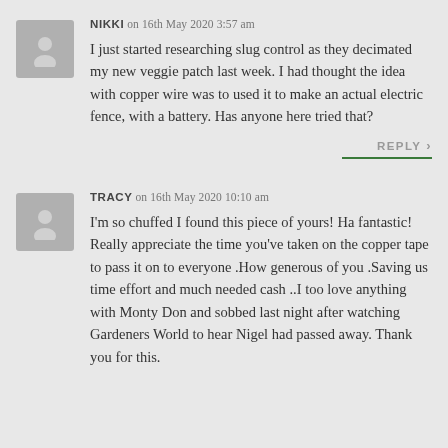[Figure (illustration): Gray avatar placeholder with person silhouette icon for user Nikki]
NIKKI on 16th May 2020 3:57 am
I just started researching slug control as they decimated my new veggie patch last week. I had thought the idea with copper wire was to used it to make an actual electric fence, with a battery. Has anyone here tried that?
REPLY ›
[Figure (illustration): Gray avatar placeholder with person silhouette icon for user Tracy]
TRACY on 16th May 2020 10:10 am
I'm so chuffed I found this piece of yours! Ha fantastic! Really appreciate the time you've taken on the copper tape to pass it on to everyone .How generous of you .Saving us time effort and much needed cash ..I too love anything with Monty Don and sobbed last night after watching Gardeners World to hear Nigel had passed away. Thank you for this.